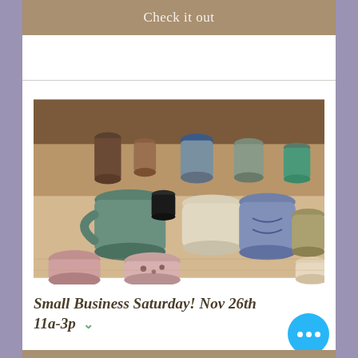Check it out
[Figure (photo): A collection of ceramic pottery mugs and bowls in various colors and sizes arranged on a surface, photographed from a slightly elevated angle.]
Small Business Saturday! Nov 26th 11a-3p